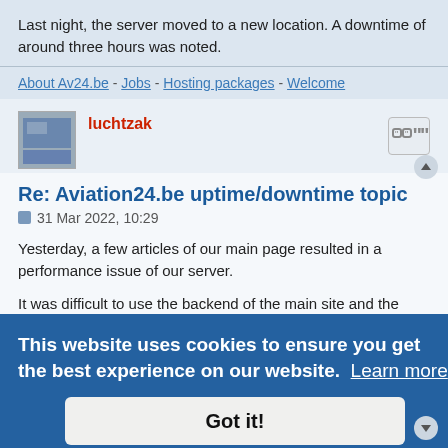Last night, the server moved to a new location. A downtime of around three hours was noted.
About Av24.be - Jobs - Hosting packages - Welcome
luchtzak
Re: Aviation24.be uptime/downtime topic
31 Mar 2022, 10:29
Yesterday, a few articles of our main page resulted in a performance issue of our server.
It was difficult to use the backend of the main site and the forums.
IT started working on the problem.
Thanks for your patience.
About Av24.be - Jobs - Hosting packages - Welcome
This website uses cookies to ensure you get the best experience on our website. Learn more
Got it!